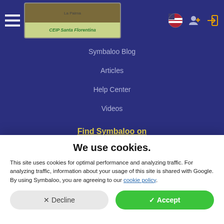[Figure (screenshot): Navigation bar with CEIP Santa Florentina logo, menu icon, and top-right icons for language, user add, and login]
Symbaloo Blog
Articles
Help Center
Videos
Find Symbaloo on
We use cookies.
This site uses cookies for optimal performance and analyzing traffic. For analyzing traffic, information about your usage of this site is shared with Google. By using Symbaloo, you are agreeing to our cookie policy.
Decline
Accept